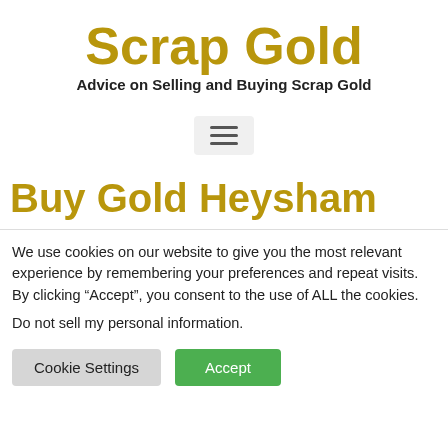Scrap Gold
Advice on Selling and Buying Scrap Gold
[Figure (other): Hamburger menu icon button]
Buy Gold Heysham
We use cookies on our website to give you the most relevant experience by remembering your preferences and repeat visits. By clicking “Accept”, you consent to the use of ALL the cookies.
Do not sell my personal information.